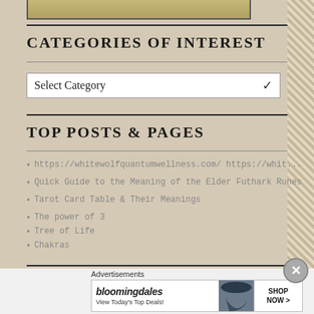[Figure (photo): Bottom edge of a wheat/grass field photo, partially visible at top of page]
CATEGORIES OF INTEREST
[Figure (other): Select Category dropdown UI element]
TOP POSTS & PAGES
https://whitewolfquantumwellness.com/ https://whit...
Quick Guide to the Meaning of the Elder Futhark Runes
Tarot Card Table & Their Meanings
The power of 3
Tree of Life
Chakras
[Figure (photo): Bloomingdales advertisement banner: View Today's Top Deals! SHOP NOW >]